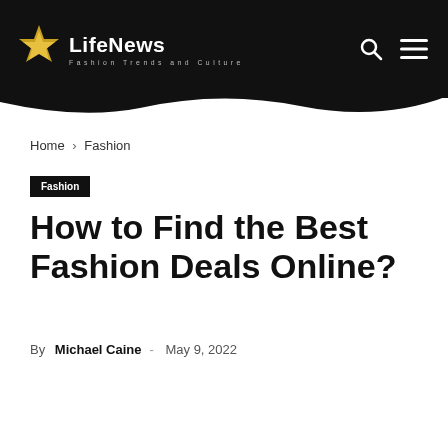LifeNews — Fashion Trends and Culture
Home › Fashion
Fashion
How to Find the Best Fashion Deals Online?
By Michael Caine - May 9, 2022